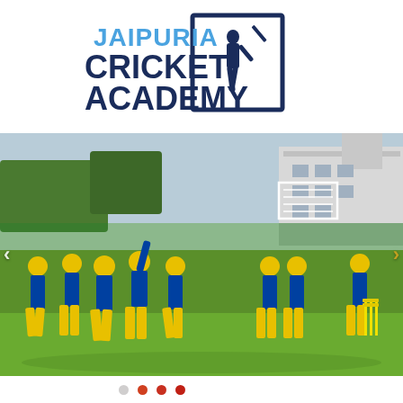[Figure (logo): Jaipuria Cricket Academy logo: blue text 'JAIPURIA CRICKET ACADEMY' with a dark navy blue cricket batsman silhouette in a square frame]
[Figure (photo): Cricket players in yellow and blue uniforms on a green cricket field. Multiple players grouped together on the left side, one batter and wicket on the right. Cricket nets visible in the background along with a white building and trees. Navigation arrows on left and right edges.]
[Figure (infographic): Carousel indicator dots: gray, red, red-dark, red-dark]